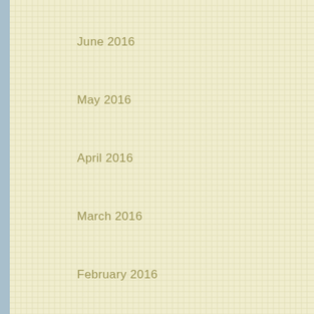June 2016
May 2016
April 2016
March 2016
February 2016
January 2016
November 2015
October 2015
September 2015
August 2015
July 2015
June 2015
May 2015